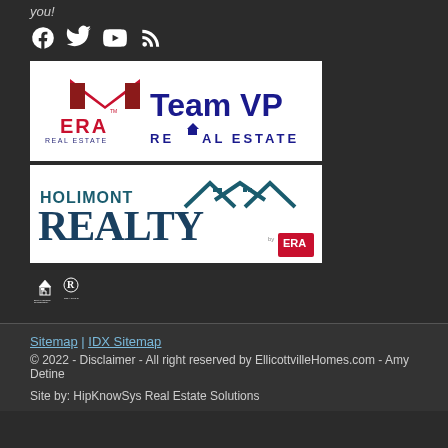you!
[Figure (logo): Social media icons: Facebook, Twitter, YouTube, RSS feed]
[Figure (logo): ERA Team VP Real Estate logo - white background with red ERA house logo on left and Team VP Real Estate text on right in dark blue]
[Figure (logo): Holimont Realty by ERA logo - white background with Holimont Realty text and ERA badge]
[Figure (logo): Equal Housing Opportunity and Realtor logos]
Sitemap | IDX Sitemap
© 2022 - Disclaimer - All right reserved by EllicottvilleHomes.com - Amy Detine
Site by: HipKnowSys Real Estate Solutions